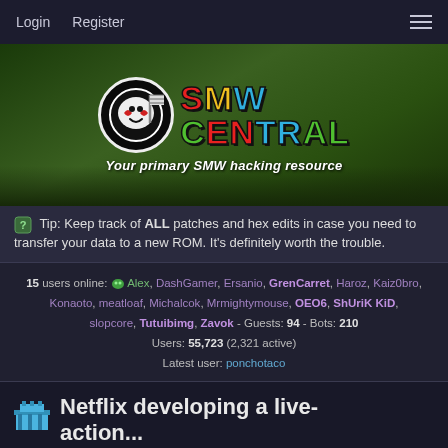Login  Register
[Figure (illustration): SMW Central banner with logo showing a black circle character holding a flag, colorful SMW CENTRAL text, tagline 'Your primary SMW hacking resource' on a green game-like background]
Tip: Keep track of ALL patches and hex edits in case you need to transfer your data to a new ROM. It's definitely worth the trouble.
15 users online: Alex, DashGamer, Ersanio, GrenCarret, Haroz, Kaiz0bro, Konaoto, meatloaf, Michalcok, Mrmightymouse, OEO6, ShUriK KiD, slopcore, Tutuibimg, Zavok - Guests: 94 - Bots: 210 Users: 55,723 (2,321 active) Latest user: ponchotaco
Netflix developing a live-action...